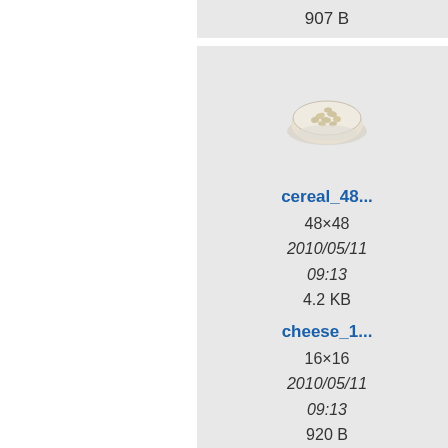907 B
1.5 KB
[Figure (photo): Small bowl of cereal (48x48 thumbnail)]
cereal_48...
48×48
2010/05/11
09:13
4.2 KB
[Figure (photo): Larger bowl of cereal (128x128 thumbnail)]
cereal_12...
128×128
2010/05/11
09:13
19.4 KB
ce...
cheese_1...
16×16
2010/05/11
09:13
920 B
cheese_2...
24×24
2010/05/11
09:13
1.4 KB
ch...